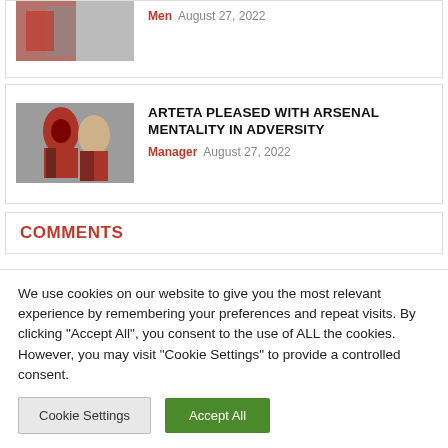[Figure (photo): Top partial article thumbnail showing a player in red and white]
Men  August 27, 2022
[Figure (photo): Two Arsenal players hugging, one in red and white kit]
ARTETA PLEASED WITH ARSENAL MENTALITY IN ADVERSITY
Manager  August 27, 2022
COMMENTS
We use cookies on our website to give you the most relevant experience by remembering your preferences and repeat visits. By clicking "Accept All", you consent to the use of ALL the cookies. However, you may visit "Cookie Settings" to provide a controlled consent.